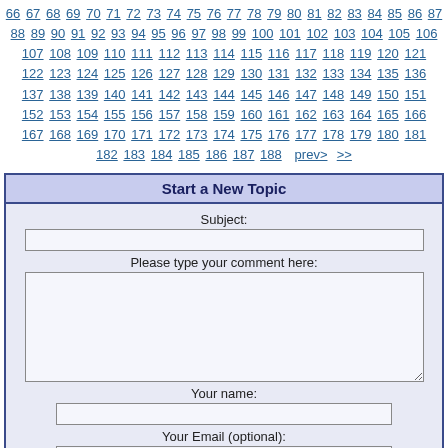66 67 68 69 70 71 72 73 74 75 76 77 78 79 80 81 82 83 84 85 86 87 88 89 90 91 92 93 94 95 96 97 98 99 100 101 102 103 104 105 106 107 108 109 110 111 112 113 114 115 116 117 118 119 120 121 122 123 124 125 126 127 128 129 130 131 132 133 134 135 136 137 138 139 140 141 142 143 144 145 146 147 148 149 150 151 152 153 154 155 156 157 158 159 160 161 162 163 164 165 166 167 168 169 170 171 172 173 174 175 176 177 178 179 180 181 182 183 184 185 186 187 188 prev> >>
Start a New Topic
Subject:
Please type your comment here:
Your name:
Your Email (optional):